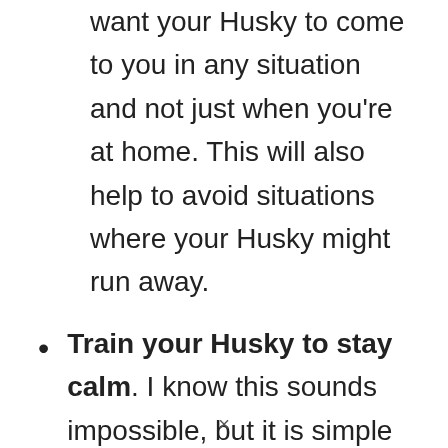want your Husky to come to you in any situation and not just when you're at home. This will also help to avoid situations where your Husky might run away.
Train your Husky to stay calm. I know this sounds impossible, but it is simple if you are consistent with your training. If your Husky is overly excited when somebody arrives
×